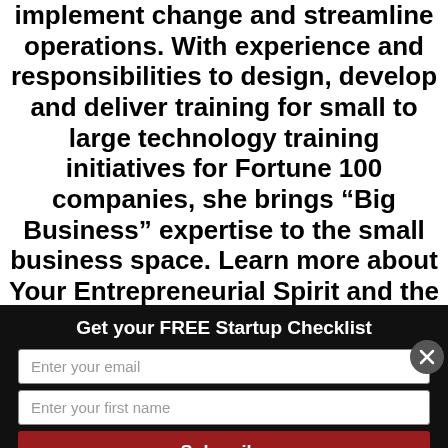implement change and streamline operations. With experience and responsibilities to design, develop and deliver training for small to large technology training initiatives for Fortune 100 companies, she brings “Big Business” expertise to the small business space. Learn more about Your Entrepreneurial Spirit and the YES to Customer Acquisition Program at www.yourentrepreneurialspirit.com
Get your FREE Startup Checklist
Enter your email
Enter your first name
Subscribe